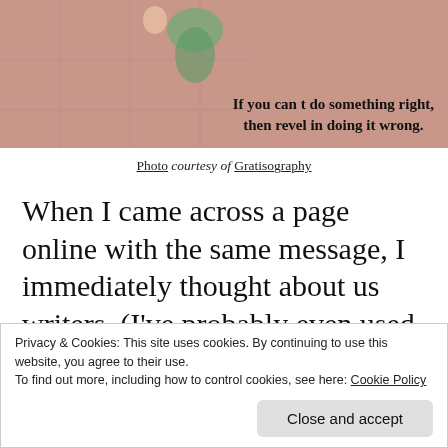[Figure (photo): Photo banner with pinkish background showing a person lying on a tiled surface. Overlaid bold text reads: 'If you can t do something right, then revel in doing it wrong.']
Photo courtesy of Gratisography
When I came across a page online with the same message, I immediately thought about us writers. (I’ve probably even used the image before.)
Privacy & Cookies: This site uses cookies. By continuing to use this website, you agree to their use.
To find out more, including how to control cookies, see here: Cookie Policy
[Close and accept]